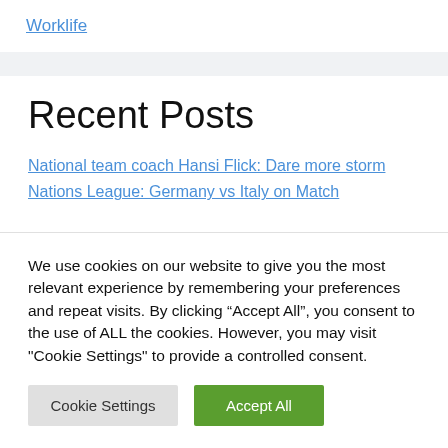Worklife
Recent Posts
National team coach Hansi Flick: Dare more storm
Nations League: Germany vs Italy on Match
We use cookies on our website to give you the most relevant experience by remembering your preferences and repeat visits. By clicking “Accept All”, you consent to the use of ALL the cookies. However, you may visit "Cookie Settings" to provide a controlled consent.